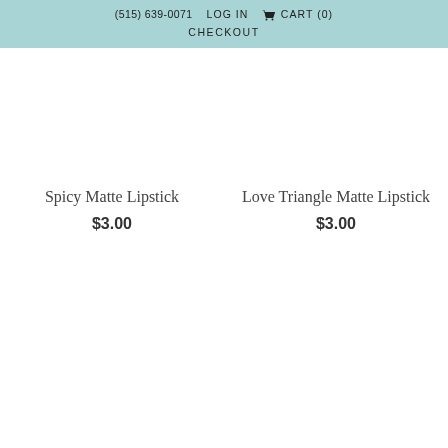(515) 639-0071  LOG IN  CART (0)  CHECKOUT
Spicy Matte Lipstick
$3.00
Love Triangle Matte Lipstick
$3.00